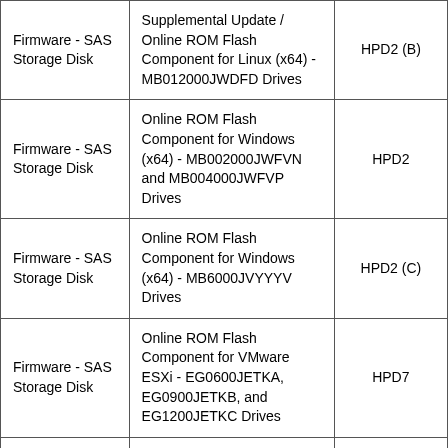| Firmware - SAS Storage Disk | Supplemental Update / Online ROM Flash Component for Linux (x64) - MB012000JWDFD Drives | HPD2 (B) |
| Firmware - SAS Storage Disk | Online ROM Flash Component for Windows (x64) - MB002000JWFVN and MB004000JWFVP Drives | HPD2 |
| Firmware - SAS Storage Disk | Online ROM Flash Component for Windows (x64) - MB6000JVYYYV Drives | HPD2 (C) |
| Firmware - SAS Storage Disk | Online ROM Flash Component for VMware ESXi - EG0600JETKA, EG0900JETKB, and EG1200JETKC Drives | HPD7 |
|  | Online ROM Flash Component for ... |  |